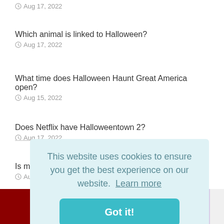Aug 17, 2022
Which animal is linked to Halloween?
Aug 17, 2022
What time does Halloween Haunt Great America open?
Aug 15, 2022
Does Netflix have Halloweentown 2?
Aug 17, 2022
Is more money spent on Halloween or Christmas?
Aug 19, 2022
This website uses cookies to ensure you get the best experience on our website. Learn more
Got it!